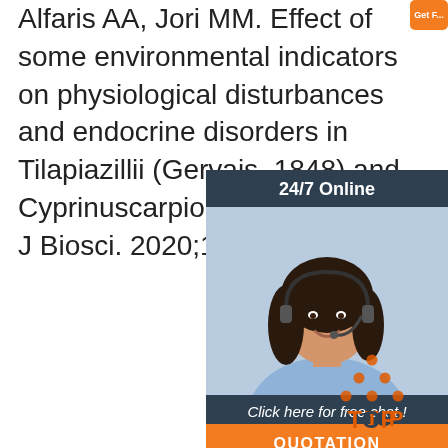Alfaris AA, Jori MM. Effect of some environmental indicators on physiological disturbances and endocrine disorders in Tilapiazillii (Gervais, 1848) and Cyprinuscarpio l, 1758. Eurasia J Biosci. 2020;14(2):2873-
[Figure (other): Orange 'Get Free' button at top right area]
[Figure (other): 24/7 Online chat advertisement box with a photo of a female customer service representative with headset, a 'Click here for free chat!' message, and an orange QUOTATION button]
[Figure (other): TOP icon with orange dotted triangle and 'TOP' text in orange and dark color]